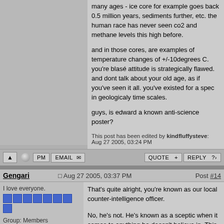many ages - ice core for example goes back 0.5 million years, sediments further, etc. the human race has never seen co2 and methane levels this high before.

and in those cores, are examples of temperature changes of +/-10degrees C. you're blasé attitude is strategically flawed. and dont talk about your old age, as if you've seen it all. you've existed for a spec in geologicaly time scales.

guys, is edward a known anti-science poster?
This post has been edited by kindfluffysteve: Aug 27 2005, 03:24 PM
Gengari   Aug 27 2005, 03:37 PM   Post #14
I love everyone.
Group: Members
Posts: 9,936
Joined: 23-June 02
From: Somewhere,
That's quite alright, you're known as our local counter-intelligence officer.

No, he's not. He's known as a sceptic when it comes to anything he doesn't believe in. This is also known as a conservative.